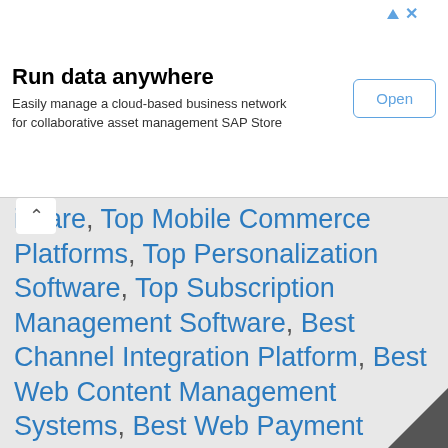[Figure (screenshot): Advertisement banner: 'Run data anywhere' with subtitle 'Easily manage a cloud-based business network for collaborative asset management SAP Store' and an 'Open' button]
itware, Top Mobile Commerce Platforms, Top Personalization Software, Top Subscription Management Software, Best Channel Integration Platform, Best Web Content Management Systems, Best Web Payment Gateways and Processors, Top Mobile Payment Providers, Top Product Review Platforms, Top Customer Engagement Platforms,